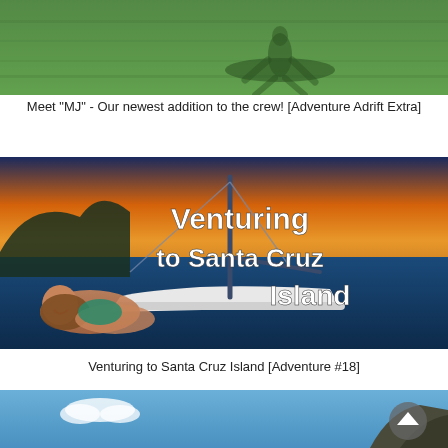[Figure (photo): Aerial or ground-level photo of green grass field with shadow of a person or object]
Meet "MJ" - Our newest addition to the crew! [Adventure Adrift Extra]
[Figure (photo): Woman lying on the bow of a sailboat at sunset with text overlay 'Venturing to Santa Cruz Island']
Venturing to Santa Cruz Island [Adventure #18]
[Figure (photo): Partial view of a coastal/rocky scene with blue sky]